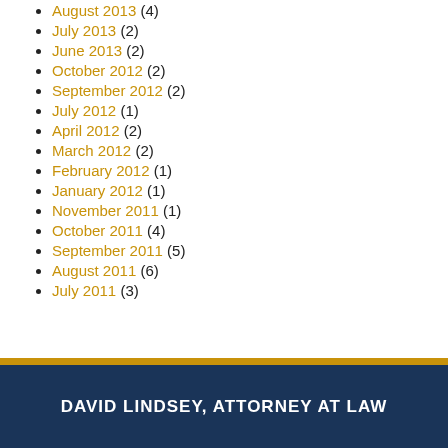August 2013 (4)
July 2013 (2)
June 2013 (2)
October 2012 (2)
September 2012 (2)
July 2012 (1)
April 2012 (2)
March 2012 (2)
February 2012 (1)
January 2012 (1)
November 2011 (1)
October 2011 (4)
September 2011 (5)
August 2011 (6)
July 2011 (3)
DAVID LINDSEY, ATTORNEY AT LAW